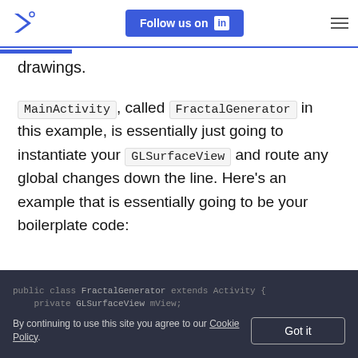Follow us on LinkedIn
drawings.
MainActivity, called FractalGenerator in this example, is essentially just going to instantiate your GLSurfaceView and route any global changes down the line. Here's an example that is essentially going to be your boilerplate code:
By continuing to use this site you agree to our Cookie Policy.